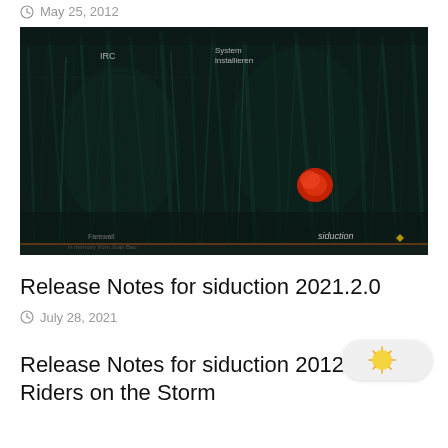May 25, 2012
[Figure (screenshot): Dark atmospheric screenshot of siduction Linux installer with grass/wheat field background and a red poppy flower, showing IRC and System installieren menu options, with siduction logo at bottom right]
Release Notes for siduction 2021.2.0
July 28, 2021
Release Notes for siduction 2012.2 — Riders on the Storm